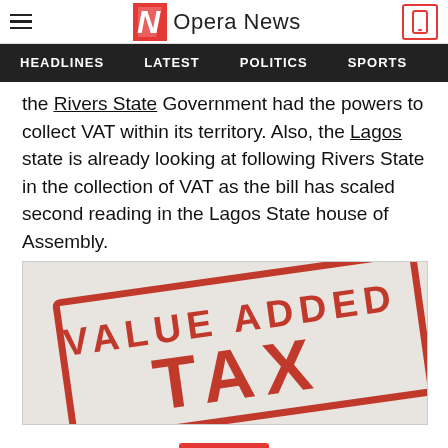Opera News
the Rivers State Government had the powers to collect VAT within its territory. Also, the Lagos state is already looking at following Rivers State in the collection of VAT as the bill has scaled second reading in the Lagos State house of Assembly.
[Figure (photo): Red stamp image with text reading VALUE ADDED TAX in bold red block letters on a light background]
[Figure (other): Red scroll-down button with chevron/down arrow icon]